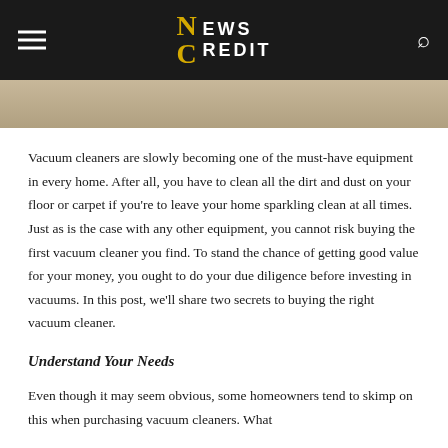NEWS CREDIT
[Figure (photo): Partial image strip showing a photo, likely of vacuum cleaner or home cleaning scene]
Vacuum cleaners are slowly becoming one of the must-have equipment in every home. After all, you have to clean all the dirt and dust on your floor or carpet if you're to leave your home sparkling clean at all times. Just as is the case with any other equipment, you cannot risk buying the first vacuum cleaner you find. To stand the chance of getting good value for your money, you ought to do your due diligence before investing in vacuums. In this post, we'll share two secrets to buying the right vacuum cleaner.
Understand Your Needs
Even though it may seem obvious, some homeowners tend to skimp on this when purchasing vacuum cleaners. What